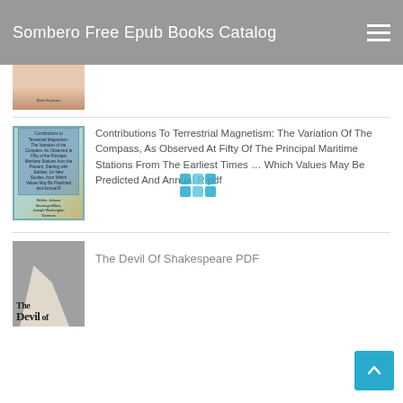Sombero Free Epub Books Catalog
[Figure (photo): Partial book cover visible at top of page, cropped]
[Figure (photo): Book cover for Contributions To Terrestrial Magnetism, blue/teal decorative border on tan background with text]
Contributions To Terrestrial Magnetism: The Variation Of The Compass, As Observed At Fifty Of The Principal Maritime Stations From The Earliest Times … Which Values May Be Predicted And Annual R pdf
[Figure (photo): Book cover for The Devil Of Shakespeare, gray background with white wing/page shape and bold title text 'The Devil of']
The Devil Of Shakespeare PDF